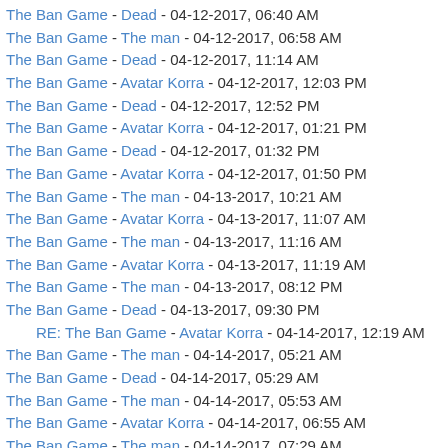The Ban Game - Dead - 04-12-2017, 06:40 AM
The Ban Game - The man - 04-12-2017, 06:58 AM
The Ban Game - Dead - 04-12-2017, 11:14 AM
The Ban Game - Avatar Korra - 04-12-2017, 12:03 PM
The Ban Game - Dead - 04-12-2017, 12:52 PM
The Ban Game - Avatar Korra - 04-12-2017, 01:21 PM
The Ban Game - Dead - 04-12-2017, 01:32 PM
The Ban Game - Avatar Korra - 04-12-2017, 01:50 PM
The Ban Game - The man - 04-13-2017, 10:21 AM
The Ban Game - Avatar Korra - 04-13-2017, 11:07 AM
The Ban Game - The man - 04-13-2017, 11:16 AM
The Ban Game - Avatar Korra - 04-13-2017, 11:19 AM
The Ban Game - The man - 04-13-2017, 08:12 PM
The Ban Game - Dead - 04-13-2017, 09:30 PM
RE: The Ban Game - Avatar Korra - 04-14-2017, 12:19 AM
The Ban Game - The man - 04-14-2017, 05:21 AM
The Ban Game - Dead - 04-14-2017, 05:29 AM
The Ban Game - The man - 04-14-2017, 05:53 AM
The Ban Game - Avatar Korra - 04-14-2017, 06:55 AM
The Ban Game - The man - 04-14-2017, 07:29 AM
The Ban Game - Avatar Korra - 04-14-2017, 09:14 AM
The Ban Game - James Comey - 04-15-2017, 03:36 AM
The Ban Game - The man - 04-15-2017, 04:24 AM